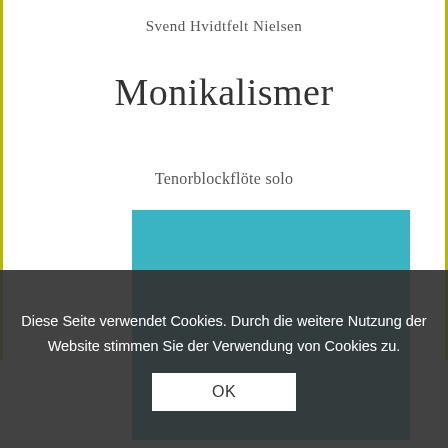Svend Hvidtfelt Nielsen
Monikalismer
Tenorblockflöte solo
[Figure (illustration): Teal/turquoise colored rectangle block, part of book cover design]
Diese Seite verwendet Cookies. Durch die weitere Nutzung der Website stimmen Sie der Verwendung von Cookies zu.
OK